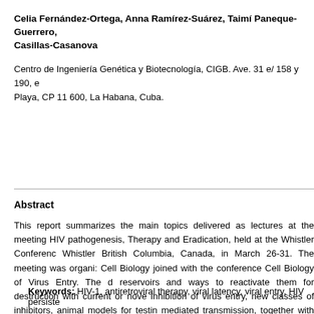Celia Fernández-Ortega, Anna Ramírez-Suárez, Taimí Paneque-Guerrero, … Casillas-Casanova
Centro de Ingeniería Genética y Biotecnología, CIGB. Ave. 31 e/ 158 y 190, … Playa, CP 11 600, La Habana, Cuba.
Abstract
This report summarizes the main topics delivered as lectures at the meeting HIV pathogenesis, Therapy and Eradication, held at the Whistler Conference, Whistler British Columbia, Canada, in March 26-31. The meeting was organized around Cell Biology joined with the conference Cell Biology of Virus Entry. The discussion of reservoirs and ways to reactivate them for destruction with current or novel drugs, inhibition of virus entry, new classes of inhibitors, animal models for testing, cell-mediated transmission, together with structural analysis of HIV-1 proteins. Very useful discussions at both the oral and poster sessions paved the way for understanding attempts to effectively inhibit virus replication and transmission, including its eradication.
Keywords: HIV-1, antiretroviral therapy, viral latency, viral entry, HIV persistence